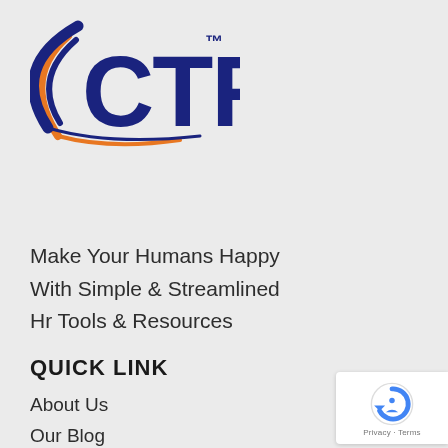[Figure (logo): CTR logo with blue arc and orange swoosh, text CTR in dark blue with TM mark]
Make Your Humans Happy
With Simple & Streamlined
Hr Tools & Resources
QUICK LINK
About Us
Our Blog
Join Our Team
Our Services
Contact Us
[Figure (other): reCAPTCHA badge with Google reCAPTCHA icon and Privacy - Terms text]